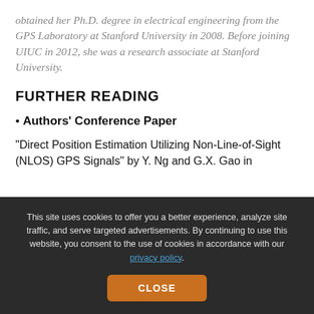obtained her Ph.D. degree in electrical engineering from the GPS Laboratory at Stanford University in 2008. Before joining UIUC in 2012, she was a research associate at Stanford University.
FURTHER READING
Authors' Conference Paper
"Direct Position Estimation Utilizing Non-Line-of-Sight (NLOS) GPS Signals" by Y. Ng and G.X. Gao in
This site uses cookies to offer you a better experience, analyze site traffic, and serve targeted advertisements. By continuing to use this website, you consent to the use of cookies in accordance with our privacy policy.